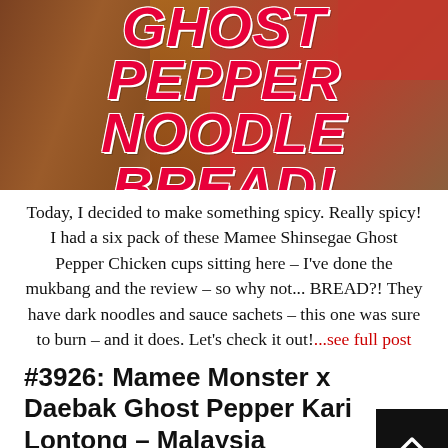[Figure (photo): Food blog banner image with dark brown bread/noodle bread in background and bold red italic text reading 'GHOST PEPPER NOODLE BREAD!' on a red overlay]
Today, I decided to make something spicy. Really spicy! I had a six pack of these Mamee Shinsegae Ghost Pepper Chicken cups sitting here – I've done the mukbang and the review – so why not... BREAD?! They have dark noodles and sauce sachets – this one was sure to burn – and it does. Let's check it out!...see full post
#3926: Mamee Monster x Daebak Ghost Pepper Kari Lontong – Malaysia
* Stars 3.1 - 4.0   Malaysia   Mamee Double-Decker